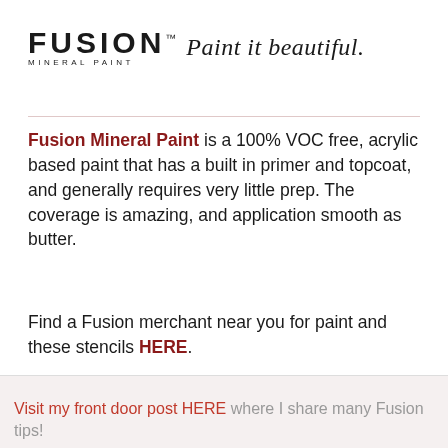[Figure (logo): Fusion Mineral Paint logo with wordmark 'FUSION MINERAL PAINT' and cursive tagline 'Paint it beautiful.']
Fusion Mineral Paint is a 100% VOC free, acrylic based paint that has a built in primer and topcoat, and generally requires very little prep. The coverage is amazing, and application smooth as butter.
Find a Fusion merchant near you for paint and these stencils HERE.
Visit my front door post HERE where I share many Fusion tips!